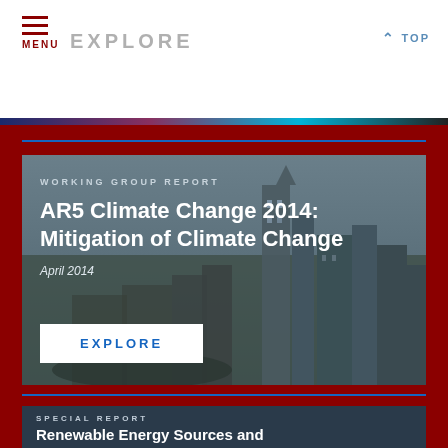MENU | EXPLORE | TOP
WORKING GROUP REPORT
AR5 Climate Change 2014: Mitigation of Climate Change
April 2014
EXPLORE
SPECIAL REPORT
Renewable Energy Sources and